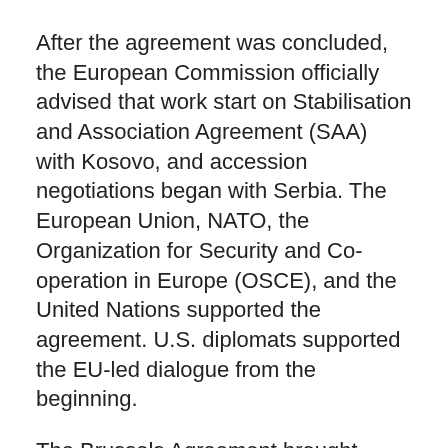After the agreement was concluded, the European Commission officially advised that work start on Stabilisation and Association Agreement (SAA) with Kosovo, and accession negotiations began with Serbia. The European Union, NATO, the Organization for Security and Co-operation in Europe (OSCE), and the United Nations supported the agreement. U.S. diplomats supported the EU-led dialogue from the beginning.
The Brussels Agreement brought Serbia close to EU accession talks and Kosovo to initialling SAA. The EU High Representative Federica Mogherini and Kosovo Prime Minister Isa Mustafa signed the SAA in October 2015, which entered into force in April 2016. One of the most difficult problems, according to knowledgeable sources, still is removing the parallel Serbian structures in the Northern part of Kosovo until full sovereignty.
The Brussels Agreement is one among several steps that have been taken in the ongoing dialogue between...